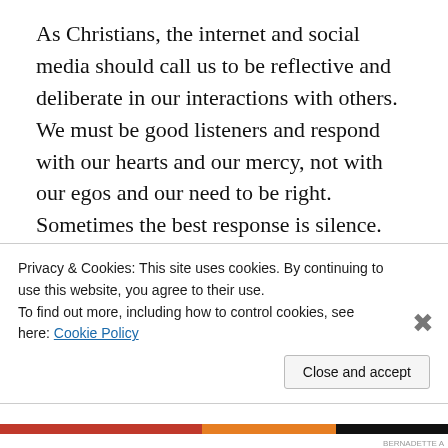As Christians, the internet and social media should call us to be reflective and deliberate in our interactions with others. We must be good listeners and respond with our hearts and our mercy, not with our egos and our need to be right. Sometimes the best response is silence. There’s a big difference between proselytizing and listening, between pedagogy and the simple human encounter of a shared conversation, a quiet time of hearing and reflection. Be truly present to that other person. Be kind
Privacy & Cookies: This site uses cookies. By continuing to use this website, you agree to their use.
To find out more, including how to control cookies, see here: Cookie Policy
Close and accept